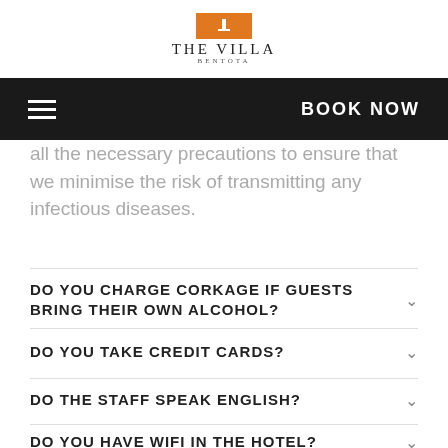[Figure (logo): The Villa Bentota hotel logo with orange square icon above the brand name]
THE VILLA BENTOTA
≡  BOOK NOW
all the necessary precautions to ensure that we minimise the risk of transmitting any infectious diseases.
DO YOU CHARGE CORKAGE IF GUESTS BRING THEIR OWN ALCOHOL?
DO YOU TAKE CREDIT CARDS?
DO THE STAFF SPEAK ENGLISH?
DO YOU HAVE WIFI IN THE HOTEL?